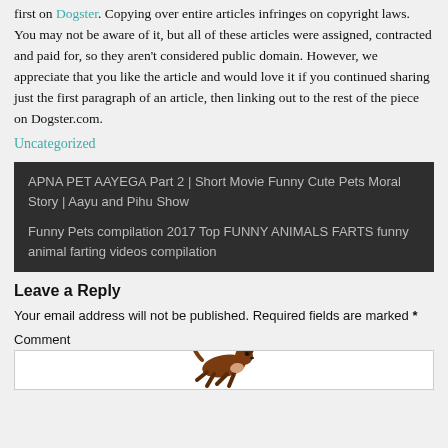first on Dogster. Copying over entire articles infringes on copyright laws. You may not be aware of it, but all of these articles were assigned, contracted and paid for, so they aren't considered public domain. However, we appreciate that you like the article and would love it if you continued sharing just the first paragraph of an article, then linking out to the rest of the piece on Dogster.com.
Uncategorized
APNA PET AAYEGA Part 2 | Short Movie Funny Cute Pets Moral Story | Aayu and Pihu Show
Funny Pets compilation 2017 Top FUNNY ANIMALS FARTS funny animal farting videos compilation
Leave a Reply
Your email address will not be published. Required fields are marked *
Comment
[Figure (illustration): Small illustration of a dog jumping or running, brown and white colored, inside a comment text area box]